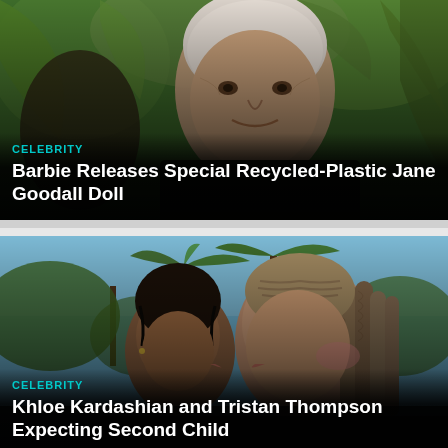[Figure (photo): Photo of elderly Jane Goodall among green tropical foliage, with Barbie dolls visible in background]
CELEBRITY
Barbie Releases Special Recycled-Plastic Jane Goodall Doll
[Figure (photo): Photo of a young girl and Khloe Kardashian sharing a kiss, with palm trees and blue sky in background]
CELEBRITY
Khloe Kardashian and Tristan Thompson Expecting Second Child